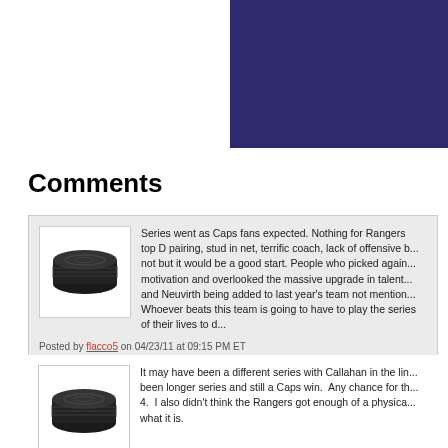[Figure (illustration): Dark navy/indigo banner image in top-right corner of the page]
Comments
Series went as Caps fans expected. Nothing for Rangers top D pairing, stud in net, terrific coach, lack of offensive b... not but it would be a good start. People who picked again... motivation and overlooked the massive upgrade in talent... and Neuvirth being added to last year's team not mention... Whoever beats this team is going to have to play the series of their lives to d...
Posted by flacco5 on 04/23/11 at 09:15 PM ET
It may have been a different series with Callahan in the lin... been longer series and still a Caps win. Any chance for th... 4. I also didn't think the Rangers got enough of a physica... what it is.